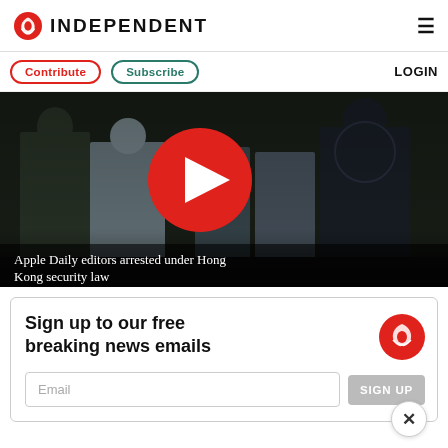[Figure (logo): The Independent newspaper logo with red eagle icon and bold INDEPENDENT text]
INDEPENDENT
Contribute | Subscribe | LOGIN
[Figure (photo): Video thumbnail showing people walking, with large red play button overlay. Caption: Apple Daily editors arrested under Hong Kong security law]
Apple Daily editors arrested under Hong Kong security law
Sign up to our free breaking news emails
Email
SIGN UP